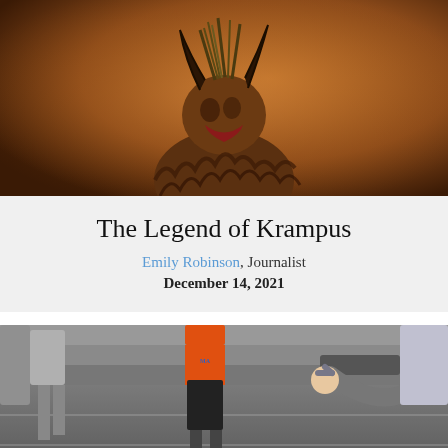[Figure (photo): A person wearing a Krampus costume with horns, a furry body, and a fearsome mask against a warm orange-brown foggy background.]
The Legend of Krampus
Emily Robinson, Journalist
December 14, 2021
[Figure (photo): Athletes on a track, some bending over catching their breath after a race. One person in the center wears an orange shirt with text visible.]